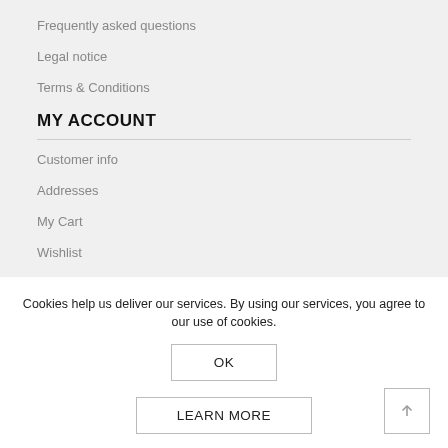Frequently asked questions
Legal notice
Terms & Conditions
MY ACCOUNT
Customer info
Addresses
My Cart
Wishlist
HELP
Cookies help us deliver our services. By using our services, you agree to our use of cookies.
OK
LEARN MORE